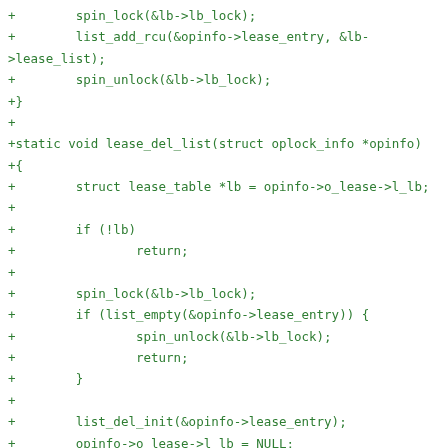+        spin_lock(&lb->lb_lock);
+        list_add_rcu(&opinfo->lease_entry, &lb-
>lease_list);
+        spin_unlock(&lb->lb_lock);
+}
+
+static void lease_del_list(struct oplock_info *opinfo)
+{
+        struct lease_table *lb = opinfo->o_lease->l_lb;
+
+        if (!lb)
+                return;
+
+        spin_lock(&lb->lb_lock);
+        if (list_empty(&opinfo->lease_entry)) {
+                spin_unlock(&lb->lb_lock);
+                return;
+        }
+
+        list_del_init(&opinfo->lease_entry);
+        opinfo->o_lease->l_lb = NULL;
+        spin_unlock(&lb->lb_lock);
+}
+
+static void lb_add(struct lease_table *lb)
+{
+        write_lock(&lease_list_lock);
+        list_add(&lb->l_entry, &lease_table_list);
+        write_unlock(&lease_list_lock);
+}